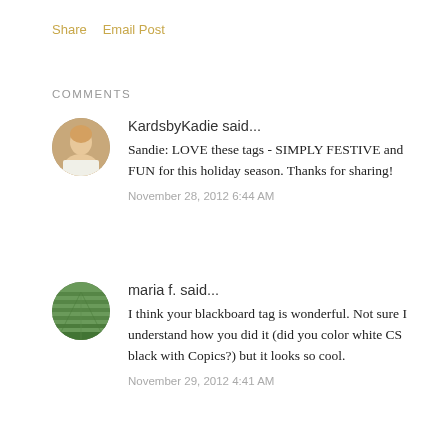Share   Email Post
COMMENTS
KardsbyKadie said...
Sandie: LOVE these tags - SIMPLY FESTIVE and FUN for this holiday season. Thanks for sharing!
November 28, 2012 6:44 AM
maria f. said...
I think your blackboard tag is wonderful. Not sure I understand how you did it (did you color white CS black with Copics?) but it looks so cool.
November 29, 2012 4:41 AM